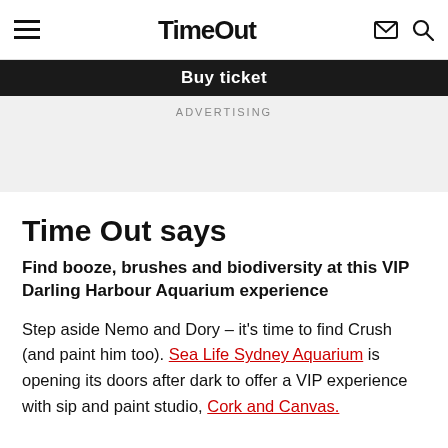Time Out
Buy ticket
ADVERTISING
Time Out says
Find booze, brushes and biodiversity at this VIP Darling Harbour Aquarium experience
Step aside Nemo and Dory – it's time to find Crush (and paint him too). Sea Life Sydney Aquarium is opening its doors after dark to offer a VIP experience with sip and paint studio, Cork and Canvas.